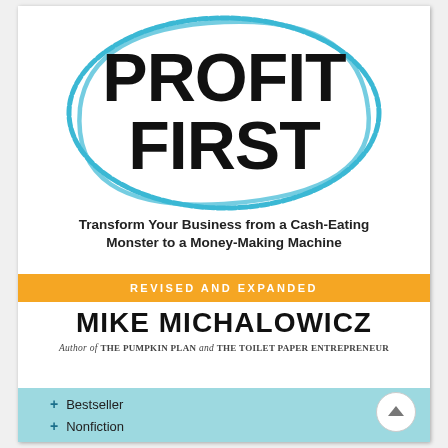[Figure (illustration): Book cover of 'Profit First' by Mike Michalowicz. Large bold black text 'PROFIT FIRST' surrounded by a hand-drawn blue oval. Subtitle: 'Transform Your Business from a Cash-Eating Monster to a Money-Making Machine'. Orange banner: 'REVISED AND EXPANDED'. Author name 'MIKE MICHALOWICZ' in large bold black text. Author credit in italic. Light blue bottom bar with '+Bestseller' and '+Nonfiction' tags.]
PROFIT FIRST
Transform Your Business from a Cash-Eating Monster to a Money-Making Machine
REVISED AND EXPANDED
MIKE MICHALOWICZ
Author of THE PUMPKIN PLAN and THE TOILET PAPER ENTREPRENEUR
+ Bestseller
+ Nonfiction